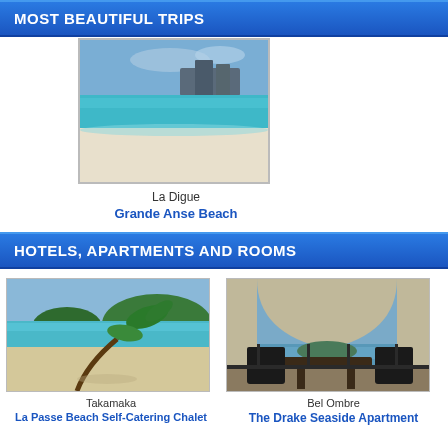MOST BEAUTIFUL TRIPS
[Figure (photo): Beach photo of La Digue Grande Anse Beach, Seychelles — white sand beach with turquoise water and rocky coastal buildings in background]
La Digue
Grande Anse Beach
HOTELS, APARTMENTS AND ROOMS
[Figure (photo): Tropical beach at Takamaka with palm tree leaning over turquoise water]
[Figure (photo): Balcony view at Bel Ombre - The Drake Seaside Apartment with outdoor furniture and sea view]
Takamaka
Bel Ombre
The Drake Seaside Apartment